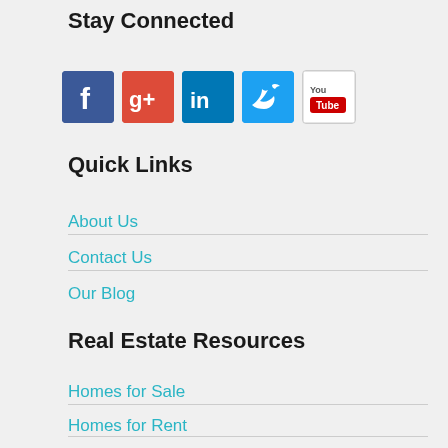Stay Connected
[Figure (infographic): Social media icons row: Facebook, Google+, LinkedIn, Twitter, YouTube]
Quick Links
About Us
Contact Us
Our Blog
Real Estate Resources
Homes for Sale
Homes for Rent
Sell Your House